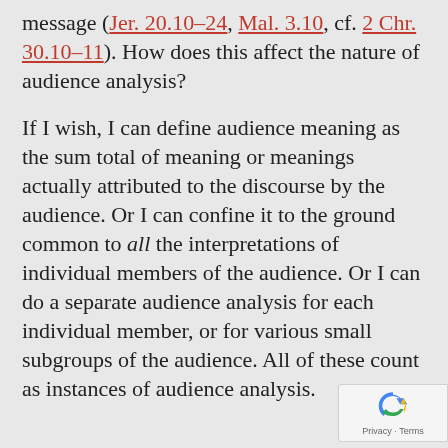message (Jer. 20.10–24, Mal. 3.10, cf. 2 Chr. 30.10–11). How does this affect the nature of audience analysis?
If I wish, I can define audience meaning as the sum total of meaning or meanings actually attributed to the discourse by the audience. Or I can confine it to the ground common to all the interpretations of individual members of the audience. Or I can do a separate audience analysis for each individual member, or for various small subgroups of the audience. All of these count as instances of audience analysis.